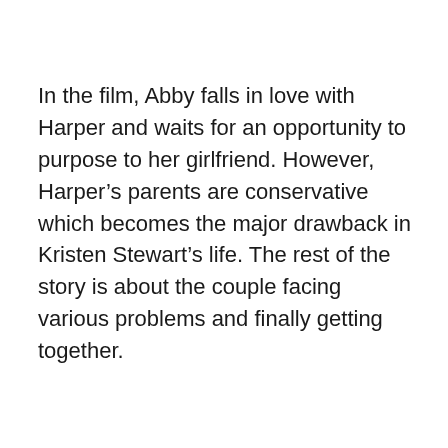In the film, Abby falls in love with Harper and waits for an opportunity to purpose to her girlfriend. However, Harper's parents are conservative which becomes the major drawback in Kristen Stewart's life. The rest of the story is about the couple facing various problems and finally getting together.